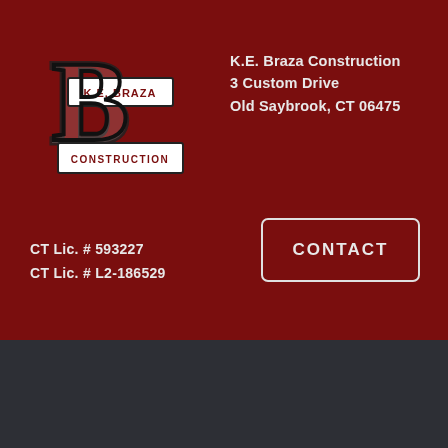[Figure (logo): K.E. Braza Construction logo with large 'B' letter and banner reading 'K.E. BRAZA' and 'CONSTRUCTION']
K.E. Braza Construction
3 Custom Drive
Old Saybrook, CT 06475
CONTACT
CT Lic. # 593227
CT Lic. # L2-186529
© Copyright 2012 - 2022 | K.E. Braza Construction, LLC Website by Zero Gravity Marketing
(860) 662-0124   INFO@KEBRAZACONSTRUCTION.COM